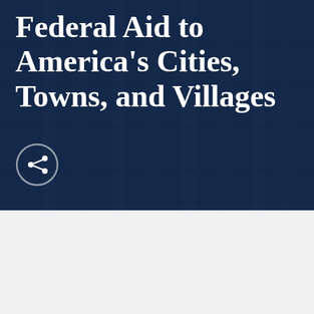Federal Aid to America's Cities, Towns, and Villages
[Figure (photo): Dark navy blue hero image with background photo of building architecture (columns/pillars) with overlay, containing a share button icon at bottom left]
Press Releases
WASHINGTON – More than 170 businesses,